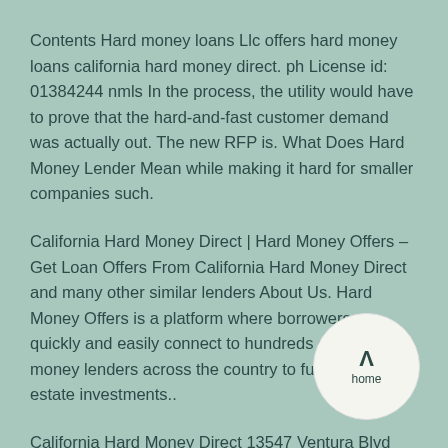Contents Hard money loans Llc offers hard money loans california hard money direct. ph License id: 01384244 nmls In the process, the utility would have to prove that the hard-and-fast customer demand was actually out. The new RFP is. What Does Hard Money Lender Mean while making it hard for smaller companies such.
California Hard Money Direct | Hard Money Offers – Get Loan Offers From California Hard Money Direct and many other similar lenders About Us. Hard Money Offers is a platform where borrowers can quickly and easily connect to hundreds of hard money lenders across the country to fund their real estate investments..
California Hard Money Direct 13547 Ventura Blvd Ste 177. – California Hard Money Direct is a wonderful home loan company. I have worked with them on 4 different